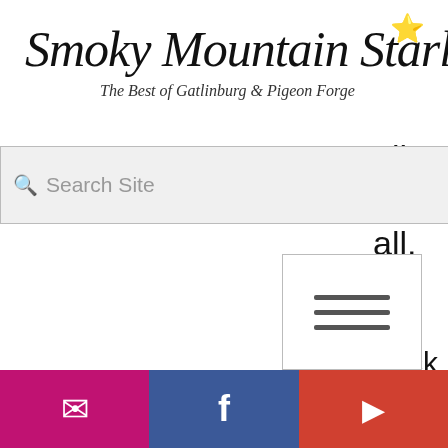[Figure (logo): Smoky Mountain Starlight logo with star emoji and tagline 'The Best of Gatlinburg & Pigeon Forge']
[Figure (screenshot): Search bar with placeholder 'Search Site']
[Figure (screenshot): Hamburger menu button icon]
and floating boat dock. This secluded lake house is private and would make a wonderful wedding venue.
3 Garages, outdoor smoker and BBQ, fireplace, theater with surround sound, hot tub, double oven, and nearby Marina where
[Figure (screenshot): Social media bar with email, Facebook, and YouTube buttons]